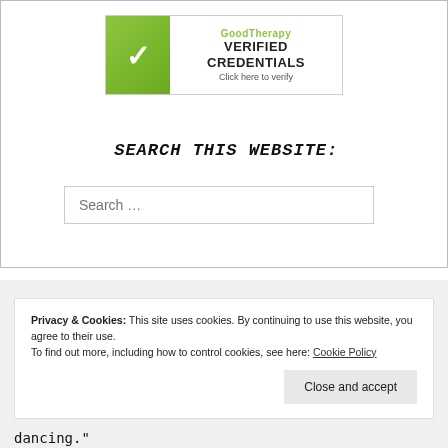[Figure (logo): GoodTherapy Verified Credentials badge with green checkmark and 'Click here to verify' text]
SEARCH THIS WEBSITE:
Search ...
Privacy & Cookies: This site uses cookies. By continuing to use this website, you agree to their use.
To find out more, including how to control cookies, see here: Cookie Policy
Close and accept
dancing."